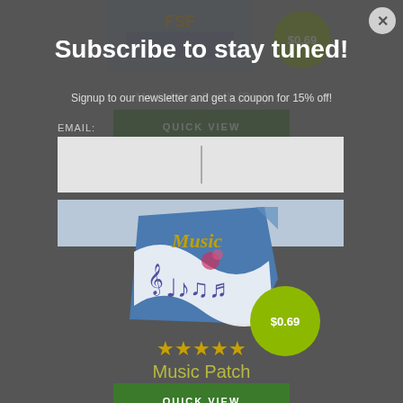Martial Arts Patch (Box)
$0.69
QUICK VIEW
Subscribe to stay tuned!
Signup to our newsletter and get a coupon for 15% off!
EMAIL:
[Figure (illustration): Music patch product image showing a scroll with music notes and the word Music written in script, blue background]
$0.69
★★★★★
Music Patch
QUICK VIEW